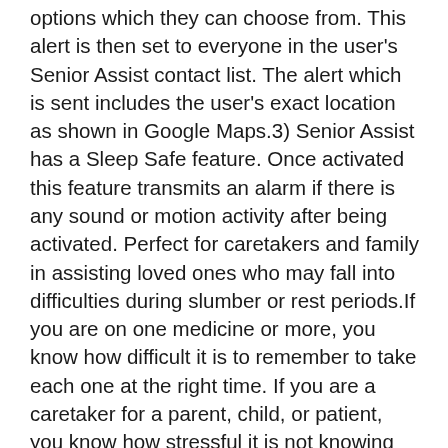options which they can choose from. This alert is then set to everyone in the user's Senior Assist contact list. The alert which is sent includes the user's exact location as shown in Google Maps.3) Senior Assist has a Sleep Safe feature. Once activated this feature transmits an alarm if there is any sound or motion activity after being activated. Perfect for caretakers and family in assisting loved ones who may fall into difficulties during slumber or rest periods.If you are on one medicine or more, you know how difficult it is to remember to take each one at the right time. If you are a caretaker for a parent, child, or patient, you know how stressful it is not knowing for sure if your loved one took their pills on time. You also will have peace of mind in knowing that your parent, child, or patient is only a push button away from notifying you if there is an emergency with their exact location.Senior Assist is an absolute must for seniors and their caretakers.Features:- Super easy to handle- Reminds you on time, even if your device is asleep- Set multiple daily alarms- Set multiple daily doses-